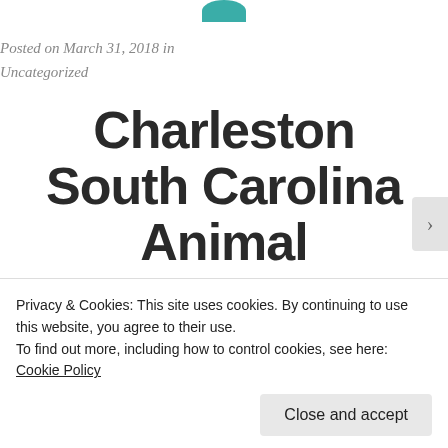[Figure (illustration): Partial teal/green circular avatar icon at top center, only bottom half visible]
Posted on March 31, 2018 in
Uncategorized
Charleston South Carolina Animal Control Do...
Privacy & Cookies: This site uses cookies. By continuing to use this website, you agree to their use.
To find out more, including how to control cookies, see here: Cookie Policy
Close and accept